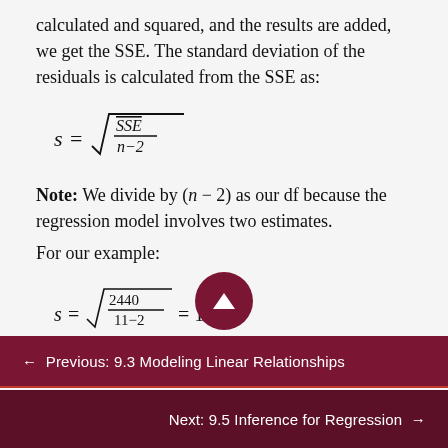calculated and squared, and the results are added, we get the SSE. The standard deviation of the residuals is calculated from the SSE as:
Note: We divide by (n − 2) as our df because the regression model involves two estimates.
For our example:
Note: Rather than calculate
← Previous: 9.3 Modeling Linear Relationships
Next: 9.5 Inference for Regression →